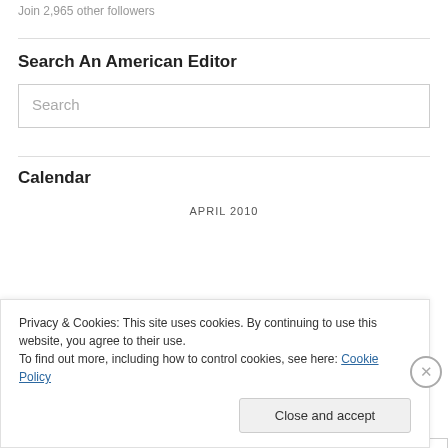Join 2,965 other followers
Search An American Editor
Search
Calendar
APRIL 2010
| M | T | W | T | F | S | S |
| --- | --- | --- | --- | --- | --- | --- |
Privacy & Cookies: This site uses cookies. By continuing to use this website, you agree to their use.
To find out more, including how to control cookies, see here: Cookie Policy